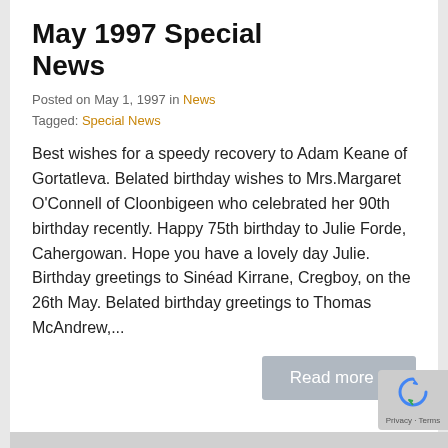May 1997 Special News
Posted on May 1, 1997 in News
Tagged: Special News
Best wishes for a speedy recovery to Adam Keane of Gortatleva. Belated birthday wishes to Mrs.Margaret O'Connell of Cloonbigeen who celebrated her 90th birthday recently. Happy 75th birthday to Julie Forde, Cahergowan. Hope you have a lovely day Julie. Birthday greetings to Sinéad Kirrane, Cregboy, on the 26th May. Belated birthday greetings to Thomas McAndrew,...
Read more »